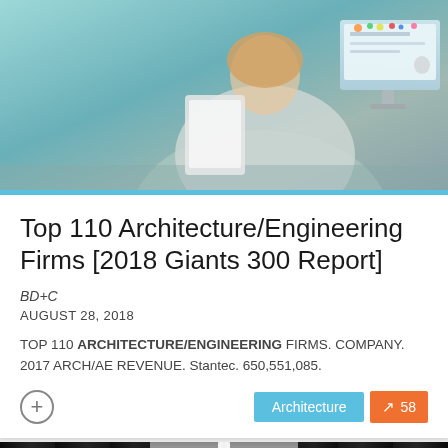[Figure (photo): Person working at a computer desk, viewed from behind, with a monitor showing content. Stickers visible on the monitor bezel. Teal/cyan tones.]
Top 110 Architecture/Engineering Firms [2018 Giants 300 Report]
BD+C
AUGUST 28, 2018
TOP 110 ARCHITECTURE/ENGINEERING FIRMS. COMPANY. 2017 ARCH/AE REVENUE. Stantec. 650,551,085.
[Figure (photo): Interior of a server room/data center with rows of server racks on both sides, overhead lighting illuminating a central aisle. Dark, industrial atmosphere.]